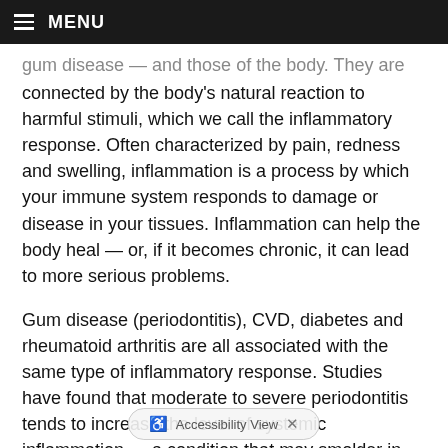≡ MENU
gum disease — and those of the body. They are connected by the body's natural reaction to harmful stimuli, which we call the inflammatory response. Often characterized by pain, redness and swelling, inflammation is a process by which your immune system responds to damage or disease in your tissues. Inflammation can help the body heal — or, if it becomes chronic, it can lead to more serious problems.
Gum disease (periodontitis), CVD, diabetes and rheumatoid arthritis are all associated with the same type of inflammatory response. Studies have found that moderate to severe periodontitis tends to increase the level of systemic inflammation — a condition that may smolder in the background, awaiting the right conditions to flare into a more serious disease. It has also been shown that the same strains of bacteria that are found in inflamed g... ...appear in the